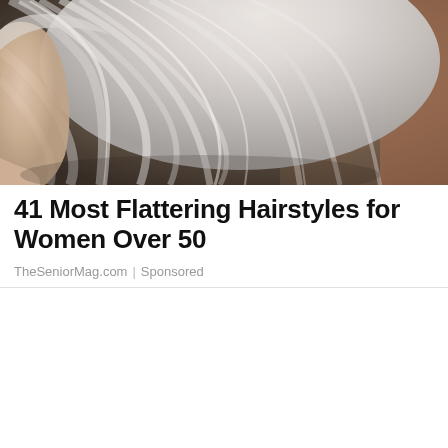[Figure (photo): Side profile of a woman with silver/white layered bob hairstyle against a blurred brown background]
41 Most Flattering Hairstyles for Women Over 50
TheSeniorMag.com | Sponsored